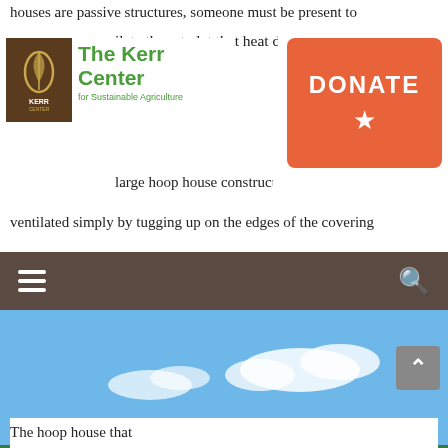houses are passive structures, someone must be present to
ilate them to let that heat dis
[Figure (logo): The Kerr Center for Sustainable Agriculture logo — brown square with leaf emblem, green text 'The Kerr Center', subtitle 'for Sustainable Agriculture']
[Figure (infographic): Orange donate button with 'DONATE' text and star icon]
large hoop house constructe
ventilated simply by tugging up on the edges of the covering
[Figure (other): Navigation bar with hamburger menu icon on left and search icon on right, dark brown background]
[Figure (photo): Photograph of a large hoop house with white plastic covering raised at the sides for ventilation, set in a field against a blue sky with trees in the background]
The hoop house that ...